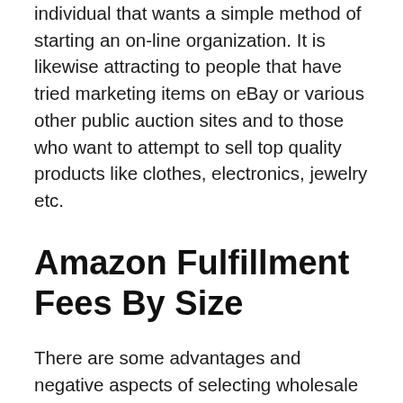individual that wants a simple method of starting an on-line organization. It is likewise attracting to people that have tried marketing items on eBay or various other public auction sites and to those who want to attempt to sell top quality products like clothes, electronics, jewelry etc.
Amazon Fulfillment Fees By Size
There are some advantages and negative aspects of selecting wholesale dropshipping and also among these downsides is the expense. This is certainly one of the disadvantages. It is true that when you choose an Amazon seller account, you will